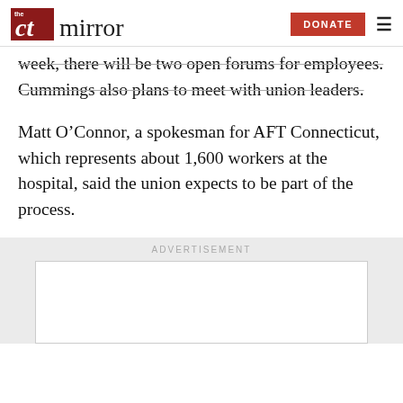The CT Mirror — DONATE
week, there will be two open forums for employees. Cummings also plans to meet with union leaders.
Matt O'Connor, a spokesman for AFT Connecticut, which represents about 1,600 workers at the hospital, said the union expects to be part of the process.
ADVERTISEMENT